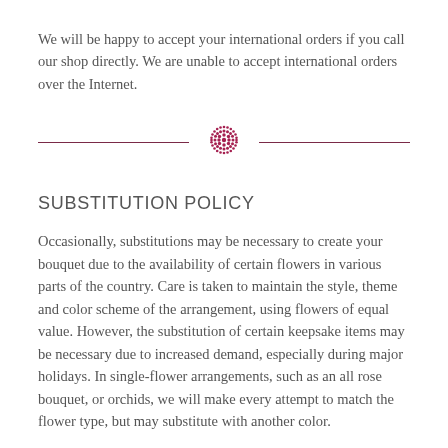We will be happy to accept your international orders if you call our shop directly. We are unable to accept international orders over the Internet.
[Figure (illustration): Decorative floral dot ornament divider in dark pink/maroon color, centered between two horizontal lines]
SUBSTITUTION POLICY
Occasionally, substitutions may be necessary to create your bouquet due to the availability of certain flowers in various parts of the country. Care is taken to maintain the style, theme and color scheme of the arrangement, using flowers of equal value. However, the substitution of certain keepsake items may be necessary due to increased demand, especially during major holidays. In single-flower arrangements, such as an all rose bouquet, or orchids, we will make every attempt to match the flower type, but may substitute with another color.